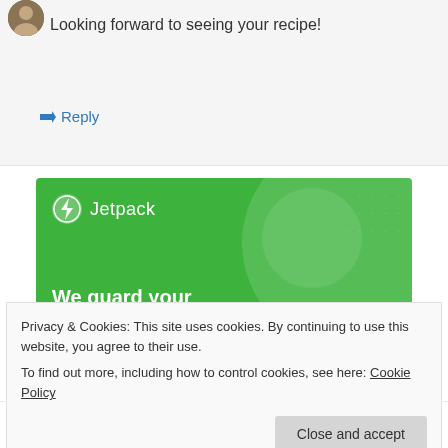Looking forward to seeing your recipe!
↳ Reply
[Figure (illustration): Jetpack advertisement banner with green background, Jetpack logo with lightning bolt icon, decorative circles, text: 'We guard your WordPress site. You run your business.']
Privacy & Cookies: This site uses cookies. By continuing to use this website, you agree to their use.
To find out more, including how to control cookies, see here: Cookie Policy
Close and accept
Stephanie on October 14, 2018 at 10:12 am